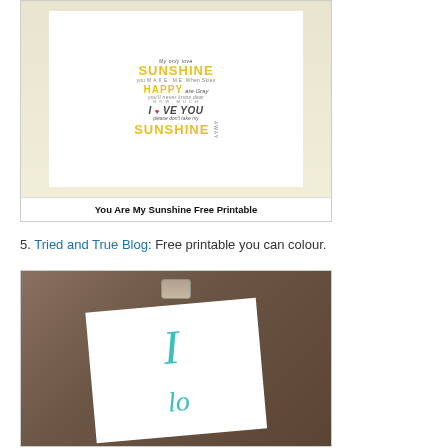[Figure (photo): Framed 'You Are My Sunshine' typography art print with yellow and dark text on light background, showing song lyrics in mixed fonts and sizes. Caption reads 'You Are My Sunshine Free Printable'.]
You Are My Sunshine Free Printable
5. Tried and True Blog: Free printable you can colour.
[Figure (photo): Photo of a clipboard holding a white card with a large teal/turquoise letter 'I' and partial cursive text below it, against a dark wooden background.]